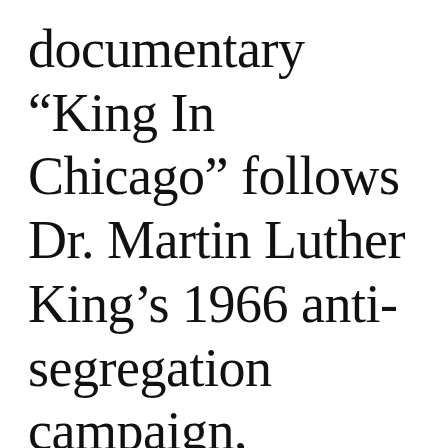documentary “King In Chicago” follows Dr. Martin Luther King’s 1966 anti-segregation campaign, combining archival footage with contemporary interviews of